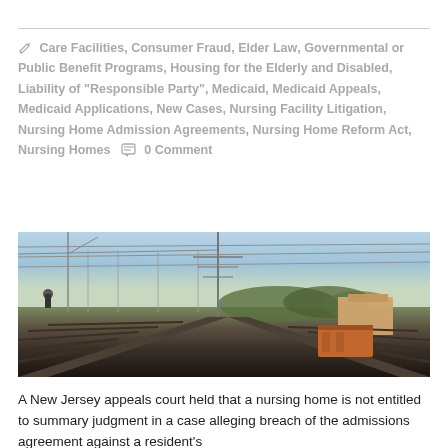Care Facilities, Consumer Fraud, Elder Law, Governmental or Public Benefit Programs, Housing for the Elderly and Disabled, Liability of "Responsible Party", Medicaid, Medicaid Appeals, Medicaid Applications, New Cases, Nursing Facility Litigation, Nursing Home Admission Agreements, Nursing Home Reform Act, Nursing Homes  0 Comment
[Figure (photo): Aerial or ground-level view of railway tracks with overhead power lines and signal gantries, industrial buildings and trees visible in the background, overcast sky.]
A New Jersey appeals court held that a nursing home is not entitled to summary judgment in a case alleging breach of the admissions agreement against a resident's